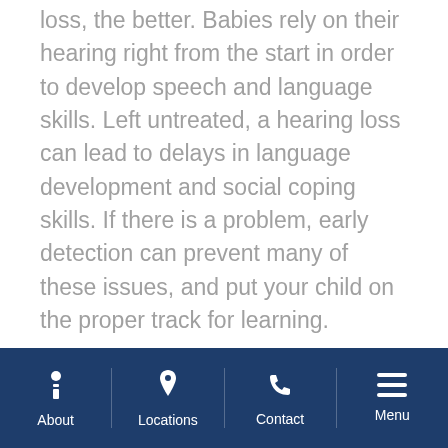loss, the better. Babies rely on their hearing right from the start in order to develop speech and language skills. Left untreated, a hearing loss can lead to delays in language development and social coping skills. If there is a problem, early detection can prevent many of these issues, and put your child on the proper track for learning.
Symptoms & Treatment
Newborn hearing loss sometimes develops shortly after birth. Even if your
About | Locations | Contact | Menu